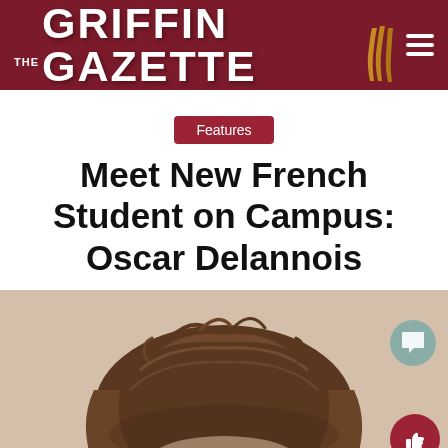THE GRIFFIN GAZETTE
Features
Meet New French Student on Campus: Oscar Delannois
[Figure (photo): Photo of Oscar Delannois, a young student with tousled brown hair, shown from the top of the head down, face partially visible, against a light beige background. Two social media buttons (comment bubble and thumbs up) overlay the right side.]